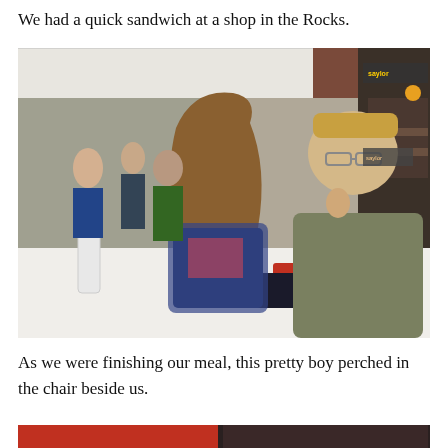We had a quick sandwich at a shop in the Rocks.
[Figure (photo): A girl with long brown hair and a man with glasses sitting at an outdoor cafe table with drinks and a book on the table, busy street in background]
As we were finishing our meal, this pretty boy perched in the chair beside us.
[Figure (photo): Partial photo showing red chairs at the bottom of the page, beginning of another image]